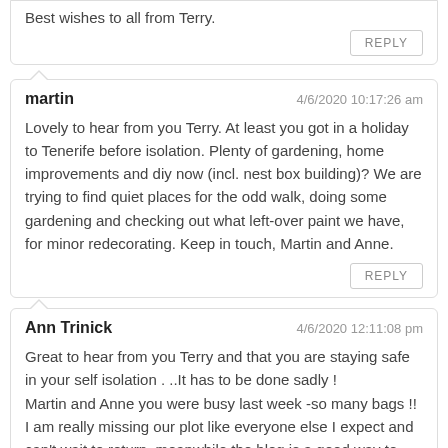Best wishes to all from Terry.
REPLY
martin
Lovely to hear from you Terry. At least you got in a holiday to Tenerife before isolation. Plenty of gardening, home improvements and diy now (incl. nest box building)? We are trying to find quiet places for the odd walk, doing some gardening and checking out what left-over paint we have, for minor redecorating. Keep in touch, Martin and Anne.
REPLY
Ann Trinick
Great to hear from you Terry and that you are staying safe in your self isolation . ..It has to be done sadly !
Martin and Anne you were busy last week -so many bags !!
I am really missing our plot like everyone else I expect and can't wait to return ,meanwhile the blog is a good way to keep in touch so thanks Martin .
Best wishes to all , take care of yourselves xx